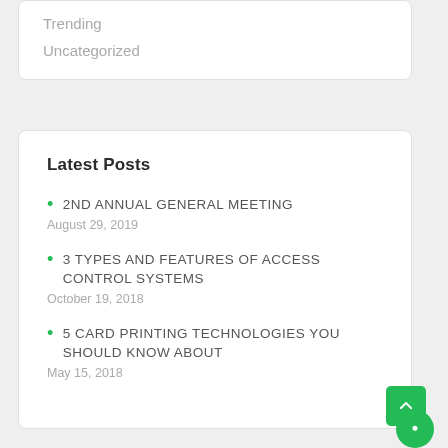Trending
Uncategorized
Latest Posts
2nd ANNUAL GENERAL MEETING
August 29, 2019
3 TYPES AND FEATURES OF ACCESS CONTROL SYSTEMS
October 19, 2018
5 CARD PRINTING TECHNOLOGIES YOU SHOULD KNOW ABOUT
May 15, 2018